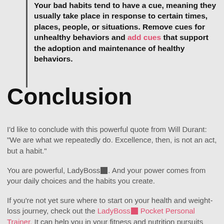Your bad habits tend to have a cue, meaning they usually take place in response to certain times, places, people, or situations. Remove cues for unhealthy behaviors and add cues that support the adoption and maintenance of healthy behaviors.
Conclusion
I'd like to conclude with this powerful quote from Will Durant: "We are what we repeatedly do. Excellence, then, is not an act, but a habit."
You are powerful, LadyBoss. And your power comes from your daily choices and the habits you create.
If you're not yet sure where to start on your health and weight-loss journey, check out the LadyBoss Pocket Personal Trainer. It can help you in your fitness and nutrition pursuits while giving you all of the